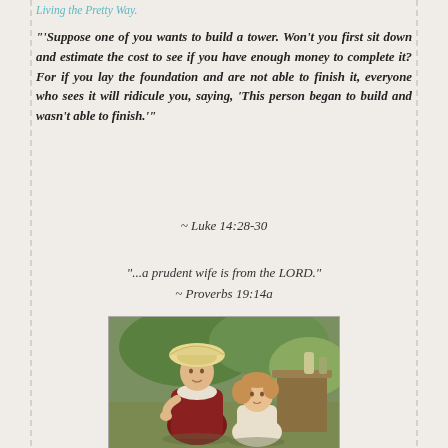Living the Pretty Way.
"'Suppose one of you wants to build a tower. Won't you first sit down and estimate the cost to see if you have enough money to complete it? For if you lay the foundation and are not able to finish it, everyone who sees it will ridicule you, saying, 'This person began to build and wasn't able to finish.'"
~ Luke 14:28-30
"...a prudent wife is from the LORD."
~ Proverbs 19:14a
[Figure (photo): Two women in period costume (Victorian/Regency era) seated outdoors in a garden setting. The older woman wears a bonnet and dark red dress; a younger girl with curly hair sits beside her.]